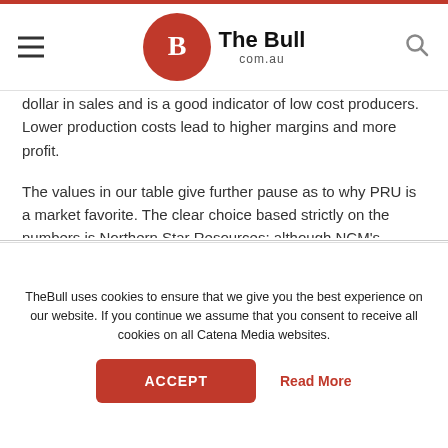The Bull com.au
dollar in sales and is a good indicator of low cost producers. Lower production costs lead to higher margins and more profit.
The values in our table give further pause as to why PRU is a market favorite. The clear choice based strictly on the numbers is Northern Star Resources; although NCM’s superior operating margin supports its reputation as a low cost producer. How do share market participants see NST versus PRU? Here is a six month chart:
TheBull uses cookies to ensure that we give you the best experience on our website. If you continue we assume that you consent to receive all cookies on all Catena Media websites.